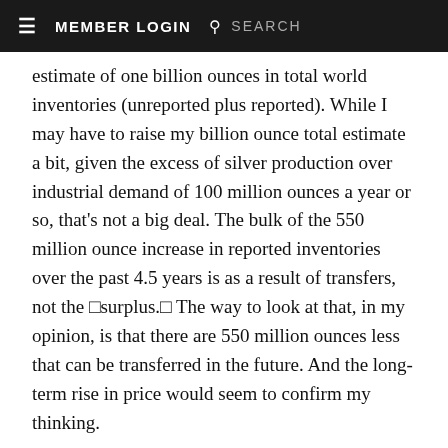≡  MEMBER LOGIN  🔍  SEARCH
estimate of one billion ounces in total world inventories (unreported plus reported). While I may have to raise my billion ounce total estimate a bit, given the excess of silver production over industrial demand of 100 million ounces a year or so, that's not a big deal. The bulk of the 550 million ounce increase in reported inventories over the past 4.5 years is as a result of transfers, not the □surplus.□ The way to look at that, in my opinion, is that there are 550 million ounces less that can be transferred in the future. And the long-term rise in price would seem to confirm my thinking.
Since the rally began at the end of August, almost 50 million ounces have been deposited into the SLV, a 16% increase in holdings. During that same time, the holdings of the big gold ETF, GLD, have actually declined slightly